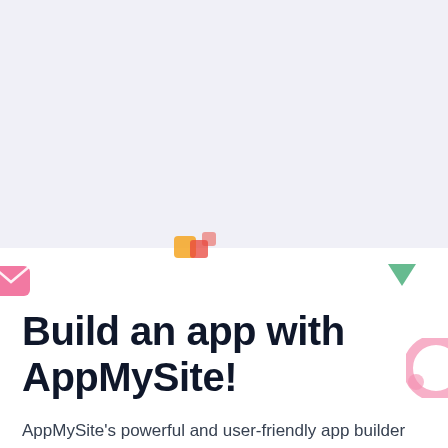[Figure (illustration): Light purple/gray background section at top of page with faint decorative app icon illustrations]
[Figure (illustration): Decorative floating app icons: center top shows orange/red puzzle-like icon, left edge shows pink/red email-style icon, right side shows green downward arrow icon, bottom right shows partial pink circle/headphone icon]
Build an app with AppMySite!
AppMySite's powerful and user-friendly app builder enables everyone to create apps without writing a